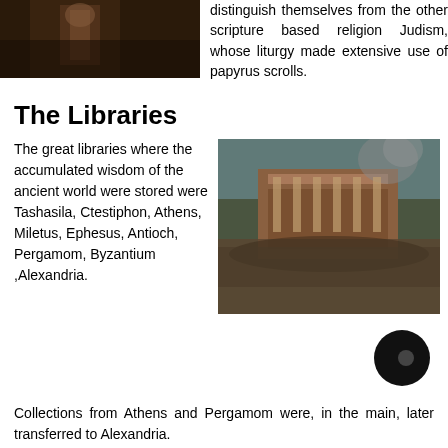[Figure (photo): Dark historical illustration showing a robed figure, partially cropped at top of page]
distinguish themselves from the other scripture based religion Judism, whose liturgy made extensive use of papyrus scrolls.
The Libraries
The great libraries where the accumulated wisdom of the ancient world were stored were Tashasila, Ctestiphon, Athens, Miletus, Ephesus, Antioch, Pergamom, Byzantium ,Alexandria.
[Figure (photo): Historical photograph or film still showing an ancient building with large crowds gathered in front, smoke in the background]
[Figure (other): Black circular navigation button with a small circle inside]
Collections from Athens and Pergamom were, in the main, later transferred to Alexandria.